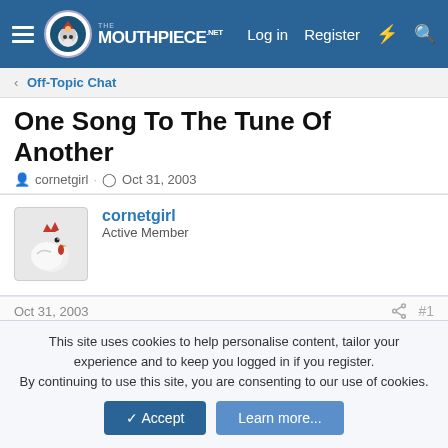The Mouthpiece — Log in  Register
< Off-Topic Chat
One Song To The Tune Of Another
cornetgirl · Oct 31, 2003
cornetgirl
Active Member
Oct 31, 2003  #1
It's obvious that there are some highly intelligent people on this forum who are huge fans of the mighty I'm Sorry I Haven't A Clue, myself among them. As Mornington Crescent is already underway, here goes with another game....
This site uses cookies to help personalise content, tailor your experience and to keep you logged in if you register.
By continuing to use this site, you are consenting to our use of cookies.